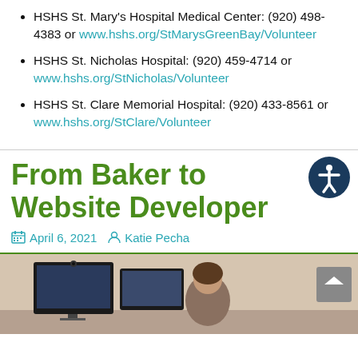HSHS St. Mary's Hospital Medical Center: (920) 498-4383 or www.hshs.org/StMarysGreenBay/Volunteer
HSHS St. Nicholas Hospital: (920) 459-4714 or www.hshs.org/StNicholas/Volunteer
HSHS St. Clare Memorial Hospital: (920) 433-8561 or www.hshs.org/StClare/Volunteer
From Baker to Website Developer
April 6, 2021   Katie Pecha
[Figure (photo): Photo of a person sitting at a computer workstation with dual monitors, partial view]